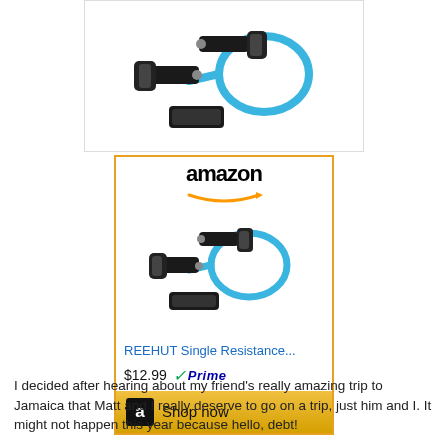[Figure (photo): Product photo of REEHUT resistance band with black handles and blue tube on white background]
[Figure (screenshot): Amazon advertisement widget showing REEHUT Single Resistance band for $12.99 with Prime badge and Shop now button]
I decided after hearing about my friend's really amazing trip to Jamaica that Matt and I really deserve to go on a trip, just him and I. It might not happen this year because hello, debt!